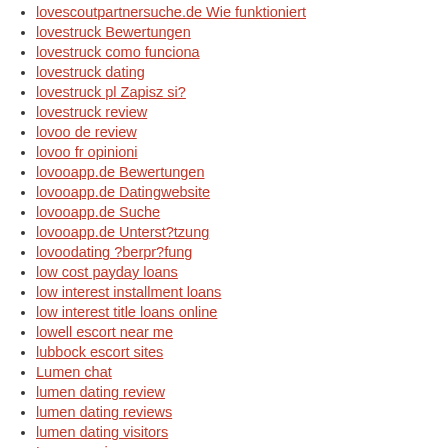lovescoutpartnersuche.de Wie funktioniert
lovestruck Bewertungen
lovestruck como funciona
lovestruck dating
lovestruck pl Zapisz si?
lovestruck review
lovoo de review
lovoo fr opinioni
lovooapp.de Bewertungen
lovooapp.de Datingwebsite
lovooapp.de Suche
lovooapp.de Unterst?tzung
lovoodating ?berpr?fung
low cost payday loans
low interest installment loans
low interest title loans online
lowell escort near me
lubbock escort sites
Lumen chat
lumen dating review
lumen dating reviews
lumen dating visitors
Lumen review
Lumen visitors
lumenapp review 2021